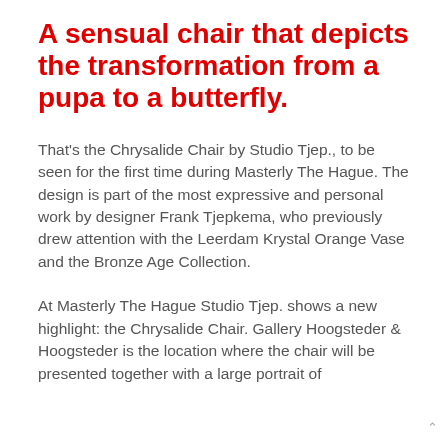A sensual chair that depicts the transformation from a pupa to a butterfly.
That's the Chrysalide Chair by Studio Tjep., to be seen for the first time during Masterly The Hague. The design is part of the most expressive and personal work by designer Frank Tjepkema, who previously drew attention with the Leerdam Krystal Orange Vase and the Bronze Age Collection.
At Masterly The Hague Studio Tjep. shows a new highlight: the Chrysalide Chair. Gallery Hoogsteder & Hoogsteder is the location where the chair will be presented together with a large portrait of